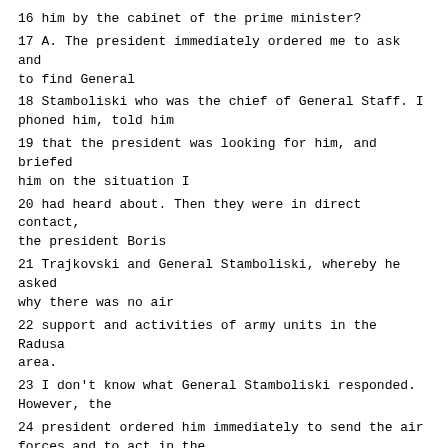16 him by the cabinet of the prime minister?
17 A. The president immediately ordered me to ask and to find General
18 Stamboliski who was the chief of General Staff. I phoned him, told him
19 that the president was looking for him, and briefed him on the situation I
20 had heard about. Then they were in direct contact, the president Boris
21 Trajkovski and General Stamboliski, whereby he asked why there was no air
22 support and activities of army units in the Radusa area.
23 I don't know what General Stamboliski responded. However, the
24 president ordered him immediately to send the air forces and to act in the
25 Radusa area for the purpose of resolving the situation which had occurred
Page 10017
1 ...